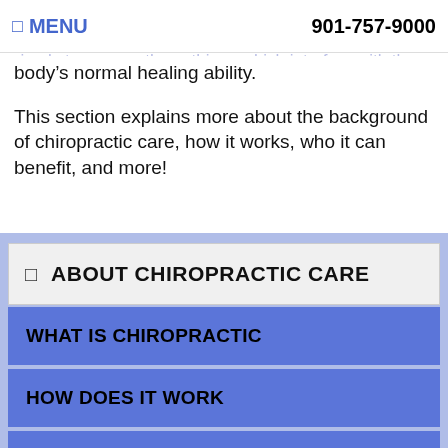☰ MENU | 901-757-9000
heal itself and to maintain its own health, the primary focus is simply to remove those things which interfere with the body's normal healing ability.
This section explains more about the background of chiropractic care, how it works, who it can benefit, and more!
ABOUT CHIROPRACTIC CARE
WHAT IS CHIROPRACTIC
HOW DOES IT WORK
WHO IS CHIROPRACTIC FOR
VERTEBRAL SUBLUXATION